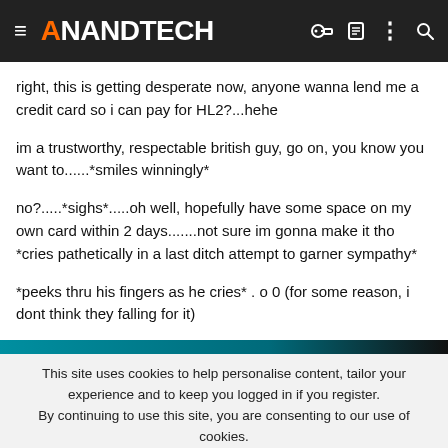AnandTech
right, this is getting desperate now, anyone wanna lend me a credit card so i can pay for HL2?...hehe
im a trustworthy, respectable british guy, go on, you know you want to......*smiles winningly*
no?.....sighs*.....oh well, hopefully have some space on my own card within 2 days.......not sure im gonna make it tho *cries pathetically in a last ditch attempt to garner sympathy*
*peeks thru his fingers as he cries* . o 0 (for some reason, i dont think they falling for it)
This site uses cookies to help personalise content, tailor your experience and to keep you logged in if you register.
By continuing to use this site, you are consenting to our use of cookies.
[Figure (infographic): Tech Leadership Awards 2022 advertisement banner: Celebrating the people and products shaping the future of media technology. Nominate Today button.]